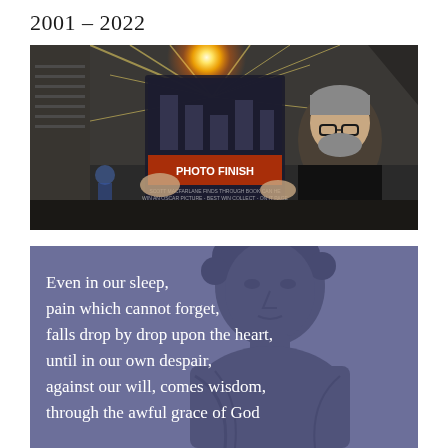2001 – 2022
[Figure (photo): A man with grey hair and glasses holding up a newspaper or magazine with the headline 'PHOTO FINISH', with a bright glowing light behind it, sitting in what appears to be a restaurant or bar setting.]
[Figure (photo): A blue-purple toned image of a classical Greek or Roman bust/sculpture overlaid with white text reading: 'Even in our sleep, pain which cannot forget, falls drop by drop upon the heart, until in our own despair, against our will, comes wisdom, through the awful grace of God']
Even in our sleep,
pain which cannot forget,
falls drop by drop upon the heart,
until in our own despair,
against our will, comes wisdom,
through the awful grace of God